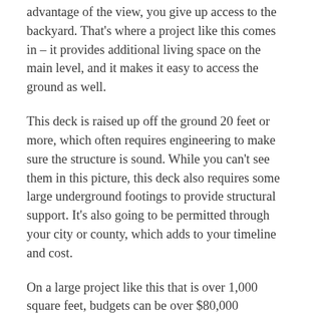advantage of the view, you give up access to the backyard. That's where a project like this comes in – it provides additional living space on the main level, and it makes it easy to access the ground as well.
This deck is raised up off the ground 20 feet or more, which often requires engineering to make sure the structure is sound. While you can't see them in this picture, this deck also requires some large underground footings to provide structural support. It's also going to be permitted through your city or county, which adds to your timeline and cost.
On a large project like this that is over 1,000 square feet, budgets can be over $80,000...